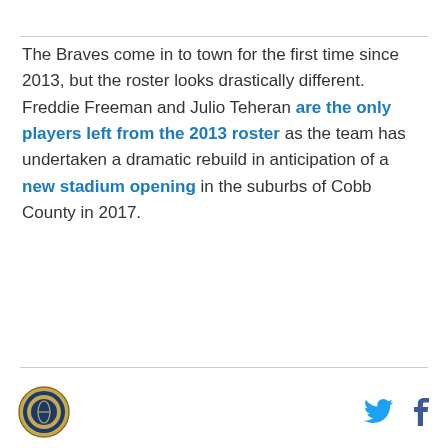The Braves come in to town for the first time since 2013, but the roster looks drastically different. Freddie Freeman and Julio Teheran are the only players left from the 2013 roster as the team has undertaken a dramatic rebuild in anticipation of a new stadium opening in the suburbs of Cobb County in 2017.
[logo] [twitter] [facebook]